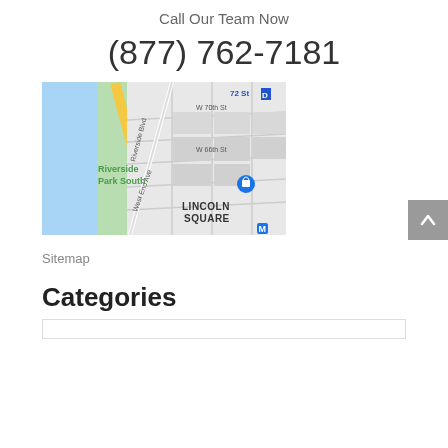Call Our Team Now
(877) 762-7181
[Figure (map): Google Maps screenshot showing Lincoln Square neighborhood in New York City, with Riverside Park South, West End Ave, W 66th St, W 70th St, Riverside Blvd, and a blue location pin marker.]
Sitemap
Categories